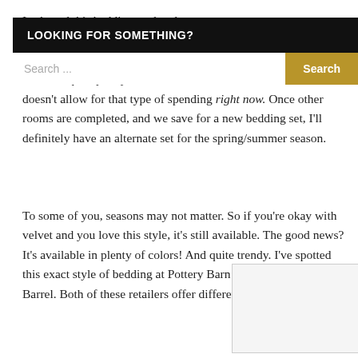I selected this bedding set late last [night/fall], the mood for something appropriate [to the season], replacing it this spring/summer season because the bedding set I want is quite pricey, and as mentioned, doesn't allow for that type of spending right now. Once other rooms are completed, and we save for a new bedding set, I'll definitely have an alternate set for the spring/summer season.
[Figure (screenshot): A search widget overlay with a black header reading 'LOOKING FOR SOMETHING?' and a search input box with placeholder text 'Search ...' and a gold 'Search' button.]
To some of you, seasons may not matter. So if you're okay with velvet and you love this style, it's still available. The good news? It's available in plenty of colors! And quite trendy. I've spotted this exact style of bedding at Pottery Barn and Crate and Barrel. Both of these retailers offer different colors as well.
[Figure (other): A light gray empty box/widget with an info icon (circle with i) in the upper right area.]